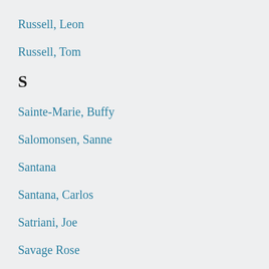Russell, Leon
Russell, Tom
S
Sainte-Marie, Buffy
Salomonsen, Sanne
Santana
Santana, Carlos
Satriani, Joe
Savage Rose
Seal